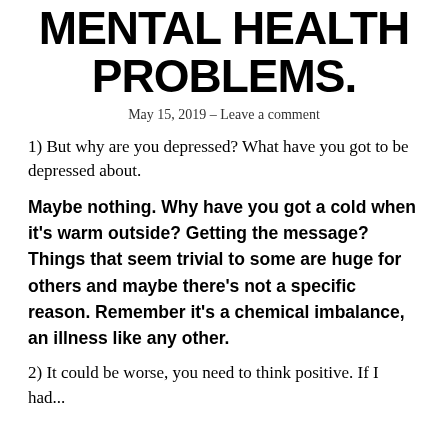MENTAL HEALTH PROBLEMS.
May 15, 2019 – Leave a comment
1) But why are you depressed? What have you got to be depressed about.
Maybe nothing. Why have you got a cold when it's warm outside? Getting the message? Things that seem trivial to some are huge for others and maybe there's not a specific reason. Remember it's a chemical imbalance, an illness like any other.
2) It could be worse, you need to think positive. If I had...